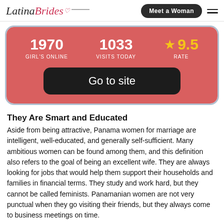Latina Brides | Meet a Woman
[Figure (infographic): Dating site stats card showing 1970 Girl's Online, 1033 Visits Today, 9.5 Rate, and a Go to site button on a salmon/red background with blue border]
They Are Smart and Educated
Aside from being attractive, Panama women for marriage are intelligent, well-educated, and generally self-sufficient. Many ambitious women can be found among them, and this definition also refers to the goal of being an excellent wife. They are always looking for jobs that would help them support their households and families in financial terms. They study and work hard, but they cannot be called feminists. Panamanian women are not very punctual when they go visiting their friends, but they always come to business meetings on time.